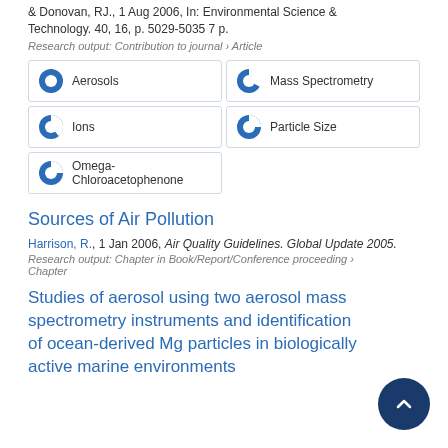& Donovan, RJ., 1 Aug 2006, In: Environmental Science & Technology. 40, 16, p. 5029-5035 7 p.
Research output: Contribution to journal › Article
[Figure (other): Keyword badges with pie chart icons: Aerosols (100%), Mass Spectrometry (90%), Ions (75%), Particle Size (50%), Omega-Chloroacetophenone (50%)]
Sources of Air Pollution
Harrison, R., 1 Jan 2006, Air Quality Guidelines. Global Update 2005.
Research output: Chapter in Book/Report/Conference proceeding › Chapter
Studies of aerosol using two aerosol mass spectrometry instruments and identification of ocean-derived Mg particles in biologically active marine environments